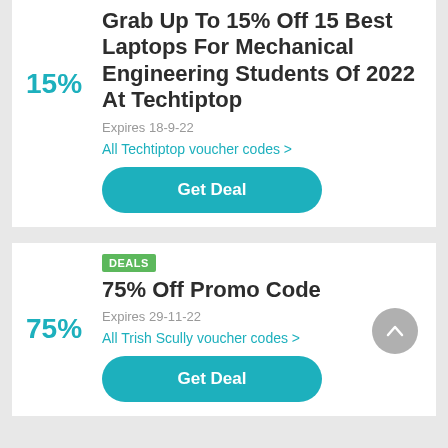Grab Up To 15% Off 15 Best Laptops For Mechanical Engineering Students Of 2022 At Techtiptop
Expires 18-9-22
All Techtiptop voucher codes >
Get Deal
DEALS
75% Off Promo Code
Expires 29-11-22
All Trish Scully voucher codes >
Get Deal